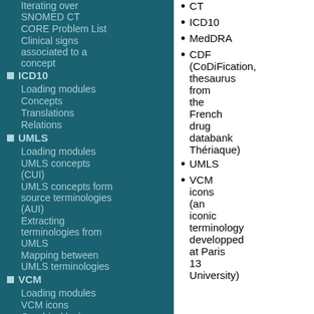Iterating over SNOMED CT
CORE Problem List
Clinical signs associated to a concept
ICD10
Loading modules
Concepts
Translations
Relations
UMLS
Loading modules
UMLS concepts (CUI)
UMLS concepts form source terminologies (AUI)
Extracting terminologies from UMLS
Mapping between UMLS terminologies
VCM
Loading modules
VCM icons
Graphical lexicon
Creating a VCM icon from lexicon
CT
ICD10
MedDRA
CDF (CoDiFication, thesaurus from the French drug databank Thériaque)
UMLS
VCM icons (an iconic terminology developped at Paris 13 University)